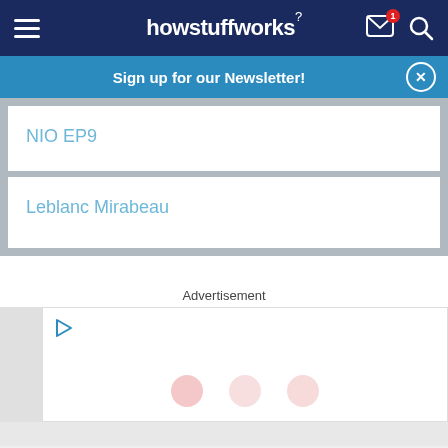howstuffworks
Sign up for our Newsletter!
NIO EP9
Leblanc Mirabeau
Advertisement